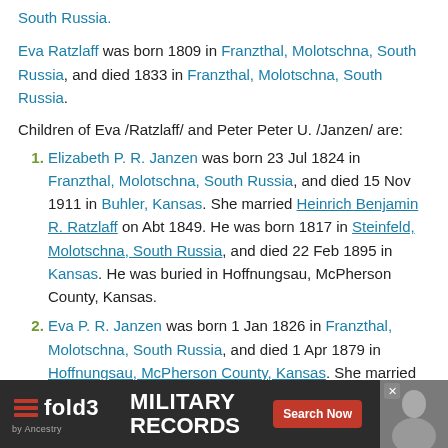South Russia.
Eva Ratzlaff was born 1809 in Franzthal, Molotschna, South Russia, and died 1833 in Franzthal, Molotschna, South Russia.
Children of Eva /Ratzlaff/ and Peter Peter U. /Janzen/ are:
1. Elizabeth P. R. Janzen was born 23 Jul 1824 in Franzthal, Molotschna, South Russia, and died 15 Nov 1911 in Buhler, Kansas. She married Heinrich Benjamin R. Ratzlaff on Abt 1849. He was born 1817 in Steinfeld, Molotschna, South Russia, and died 22 Feb 1895 in Kansas. He was buried in Hoffnungsau, McPherson County, Kansas.
2. Eva P. R. Janzen was born 1 Jan 1826 in Franzthal, Molotschna, South Russia, and died 1 Apr 1879 in Hoffnungsau, McPherson County, Kansas. She married Peter Benjamin R. Ratzlaff on May 1850 in Franzthal, Molotschna, South Russia. He was born 29 May 1829 in Molotschna Colony, South Russia, and died 7 Sep 1891 in Ho... buried in
[Figure (other): Advertisement banner for Fold3 Military Records by Ancestry with Search Now button]